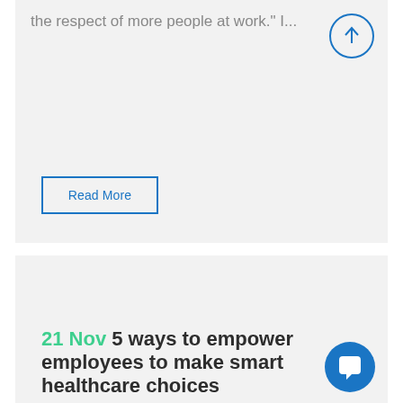the respect of more people at work." I...
Read More
21 Nov 5 ways to empower employees to make smart healthcare choices
Posted at 10:00h in culture